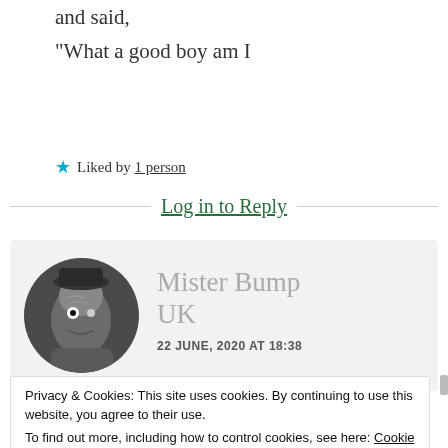and said,
“What a good boy am I
★ Liked by 1 person
Log in to Reply
[Figure (photo): Circular avatar photo of a carved or clay figurine face, black and white]
Mister Bump UK
22 JUNE, 2020 AT 18:38
Privacy & Cookies: This site uses cookies. By continuing to use this website, you agree to their use.
To find out more, including how to control cookies, see here: Cookie Policy
Close and accept